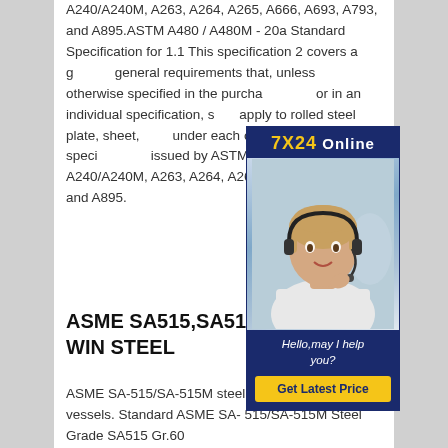A240/A240M, A263, A264, A265, A666, A693, A793, and A895.ASTM A480 / A480M - 20a Standard Specification for 1.1 This specification 2 covers a general requirements that, unless otherwise specified in the purchase or in an individual specification, shall apply to rolled steel plate, sheet, under each of the following specifications issued by ASTM Specifications A240/A240M, A263, A264, A265, A693, A793, and A895.
[Figure (photo): Advertisement banner with '7X24 Online' header, customer service representative photo wearing headset, 'Hello, may I help you?' text, and 'Get Latest Price' yellow button on dark blue background.]
ASME SA515,SA515 Steel - JOIN WIN STEEL
ASME SA-515/SA-515M steel plates for pressure vessels. Standard ASME SA-515/SA-515M Steel Grade SA515 Gr.60